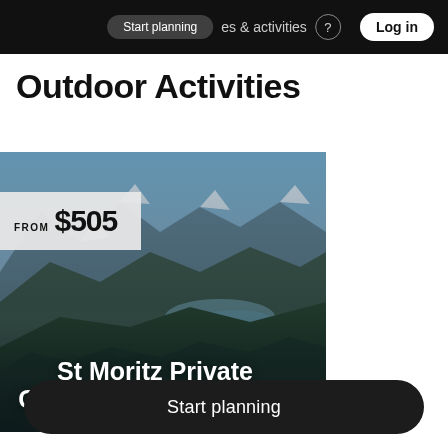Start planning   places & activities   Log in
Outdoor Activities
[Figure (photo): Aerial panoramic mountain landscape of St Moritz with forested valley and lake, overlaid with FROM $505 price tag and title 'St Moritz Private Guided Panorama Hike']
Start planning